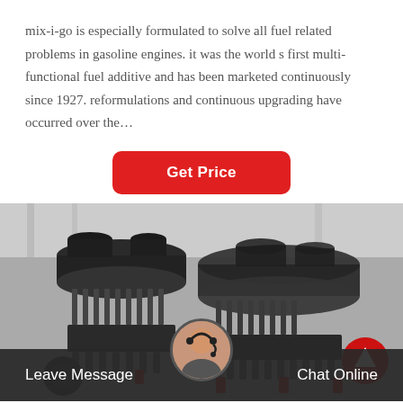mix-i-go is especially formulated to solve all fuel related problems in gasoline engines. it was the world s first multi-functional fuel additive and has been marketed continuously since 1927. reformulations and continuous upgrading have occurred over the…
[Figure (other): Red rounded rectangle button labeled 'Get Price']
[Figure (photo): Industrial cone crusher machines in a factory/warehouse setting. Large dark grey metal crushing equipment with springs, pulleys, and red accents. Multiple units visible.]
Leave Message
Chat Online